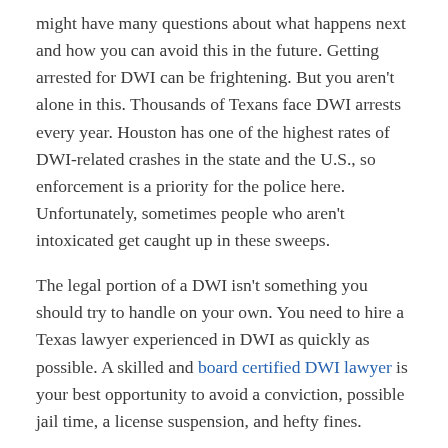might have many questions about what happens next and how you can avoid this in the future. Getting arrested for DWI can be frightening. But you aren't alone in this. Thousands of Texans face DWI arrests every year. Houston has one of the highest rates of DWI-related crashes in the state and the U.S., so enforcement is a priority for the police here. Unfortunately, sometimes people who aren't intoxicated get caught up in these sweeps.
The legal portion of a DWI isn't something you should try to handle on your own. You need to hire a Texas lawyer experienced in DWI as quickly as possible. A skilled and board certified DWI lawyer is your best opportunity to avoid a conviction, possible jail time, a license suspension, and hefty fines.
WHAT HAPPENS DURING A DWI TRAFFIC STOP?